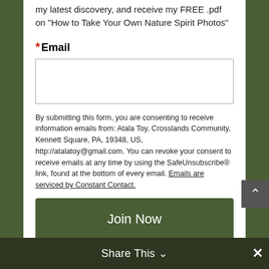my latest discovery, and receive my FREE .pdf on "How to Take Your Own Nature Spirit Photos"
*Email
By submitting this form, you are consenting to receive information emails from: Atala Toy, Crosslands Community, Kennett Square, PA, 19348, US, http://atalatoy@gmail.com. You can revoke your consent to receive emails at any time by using the SafeUnsubscribe® link, found at the bottom of every email. Emails are serviced by Constant Contact.
Join Now
Share This ∨  ✕